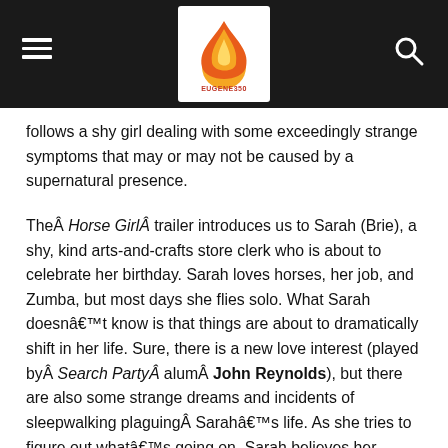[Navigation bar with hamburger menu, EUGENE350 logo, and search icon]
follows a shy girl dealing with some exceedingly strange symptoms that may or may not be caused by a supernatural presence.

The Horse Girl trailer introduces us to Sarah (Brie), a shy, kind arts-and-crafts store clerk who is about to celebrate her birthday. Sarah loves horses, her job, and Zumba, but most days she flies solo. What Sarah doesn’t know is that things are about to dramatically shift in her life. Sure, there is a new love interest (played by Search Party alum John Reynolds), but there are also some strange dreams and incidents of sleepwalking plaguing Sarah’s life. As she tries to figure out what’s going on, Sarah believes her symptoms may be connected to something that happened to her grandmother and might even